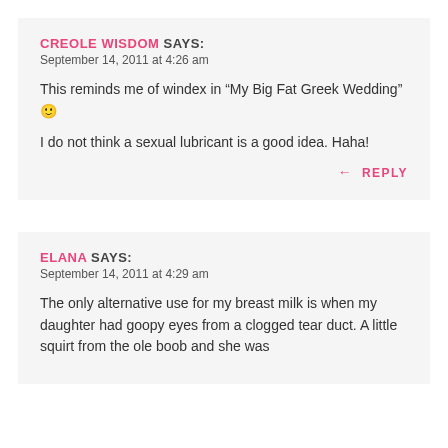CREOLE WISDOM SAYS:
September 14, 2011 at 4:26 am
This reminds me of windex in “My Big Fat Greek Wedding” 🙂
I do not think a sexual lubricant is a good idea. Haha!
← REPLY
ELANA SAYS:
September 14, 2011 at 4:29 am
The only alternative use for my breast milk is when my daughter had goopy eyes from a clogged tear duct. A little squirt from the ole boob and she was